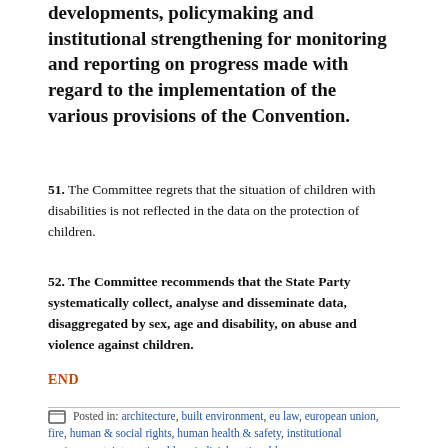developments, policymaking and institutional strengthening for monitoring and reporting on progress made with regard to the implementation of the various provisions of the Convention.
51.  The Committee regrets that the situation of children with disabilities is not reflected in the data on the protection of children.
52.  The Committee recommends that the State Party systematically collect, analyse and disseminate data, disaggregated by sex, age and disability, on abuse and violence against children.
END
Posted in: architecture, built environment, eu law, european union, fire, human & social rights, human health & safety, institutional environment, international law, judicial, national law…